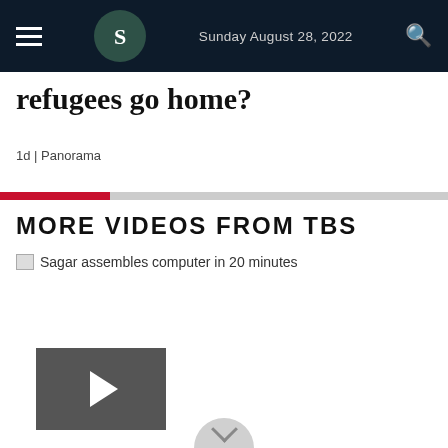Sunday August 28, 2022
refugees go home?
1d | Panorama
MORE VIDEOS FROM TBS
Sagar assembles computer in 20 minutes
[Figure (other): Video thumbnail with play button icon for a video titled Sagar assembles computer in 20 minutes]